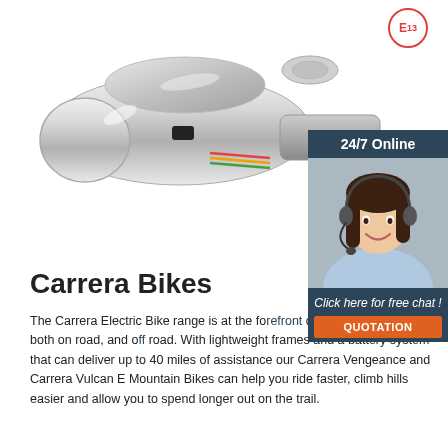[Figure (photo): Chrome trailer hitch coupler / tow ball coupling hardware, silver metallic finish, viewed from side angle with size label badges (50x40mm, 50x50mm, 50x60mm) and E13 certification badge in top right corner]
[Figure (photo): 24/7 Online customer support panel showing a smiling woman with headset, dark blue background, with 'Click here for free chat!' text and orange QUOTATION button]
Carrera Bikes
The Carrera Electric Bike range is at the forefront of the E Bike revolution both on road, and off road. With lightweight frames and a battery system that can deliver up to 40 miles of assistance our Carrera Vengeance and Carrera Vulcan E Mountain Bikes can help you ride faster, climb hills easier and allow you to spend longer out on the trail.